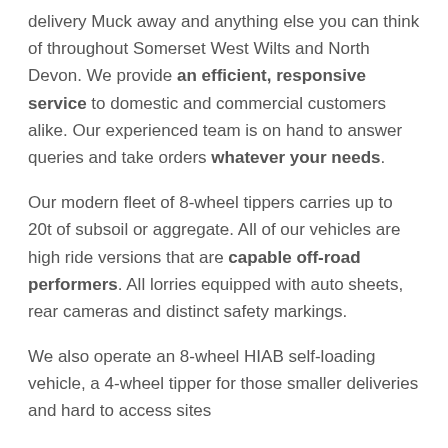delivery Muck away and anything else you can think of throughout Somerset West Wilts and North Devon. We provide an efficient, responsive service to domestic and commercial customers alike. Our experienced team is on hand to answer queries and take orders whatever your needs.
Our modern fleet of 8-wheel tippers carries up to 20t of subsoil or aggregate. All of our vehicles are high ride versions that are capable off-road performers. All lorries equipped with auto sheets, rear cameras and distinct safety markings.
We also operate an 8-wheel HIAB self-loading vehicle, a 4-wheel tipper for those smaller deliveries and hard to access sites and a continue loading trailer with...